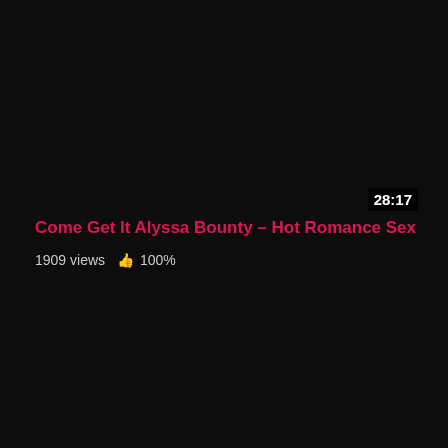[Figure (screenshot): Dark video thumbnail with timestamp 28:17 in lower right corner]
Come Get It Alyssa Bounty – Hot Romance Sex
1909 views  👍 100%